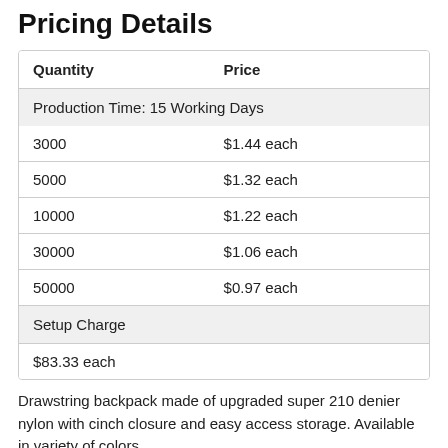Pricing Details
| Quantity | Price |
| --- | --- |
| 3000 | $1.44 each |
| 5000 | $1.32 each |
| 10000 | $1.22 each |
| 30000 | $1.06 each |
| 50000 | $0.97 each |
| Setup Charge |  |
| $83.33 each |  |
Drawstring backpack made of upgraded super 210 denier nylon with cinch closure and easy access storage. Available in variety of colors.
Normal Production Time